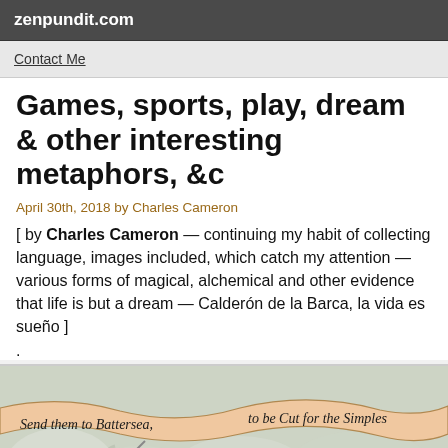zenpundit.com
Contact Me
Games, sports, play, dream & other interesting metaphors, &c
April 30th, 2018 by Charles Cameron
[ by Charles Cameron — continuing my habit of collecting language, images included, which catch my attention — various forms of magical, alchemical and other evidence that life is but a dream — Calderón de la Barca, la vida es sueño ]
.
[Figure (illustration): Historical cartoon illustration showing a figure with a ribbon/scroll banner reading 'Send them to Battersea, to be Cut for the Simples' with smoke or clouds in the background.]